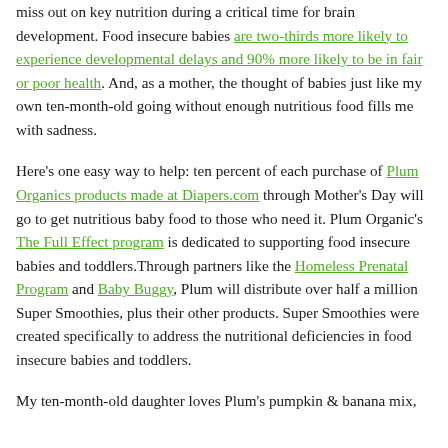miss out on key nutrition during a critical time for brain development. Food insecure babies are two-thirds more likely to experience developmental delays and 90% more likely to be in fair or poor health. And, as a mother, the thought of babies just like my own ten-month-old going without enough nutritious food fills me with sadness.
Here's one easy way to help: ten percent of each purchase of Plum Organics products made at Diapers.com through Mother's Day will go to get nutritious baby food to those who need it. Plum Organic's The Full Effect program is dedicated to supporting food insecure babies and toddlers.Through partners like the Homeless Prenatal Program and Baby Buggy, Plum will distribute over half a million Super Smoothies, plus their other products. Super Smoothies were created specifically to address the nutritional deficiencies in food insecure babies and toddlers.
My ten-month-old daughter loves Plum's pumpkin & banana mix,